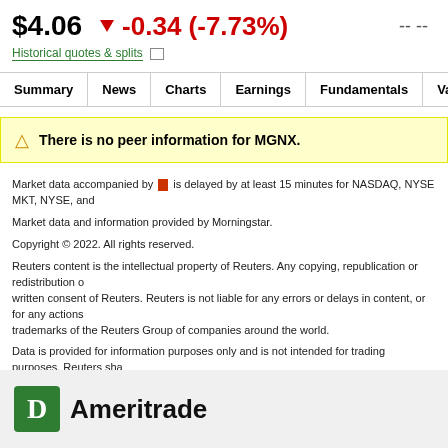$4.06   ▼ -0.34 (-7.73%)   -- --
Historical quotes & splits □
| Summary | News | Charts | Earnings | Fundamentals | Valuation | C |
| --- | --- | --- | --- | --- | --- | --- |
⚠ There is no peer information for MGNX.
Market data accompanied by [icon] is delayed by at least 15 minutes for NASDAQ, NYSE MKT, NYSE, and...
Market data and information provided by Morningstar.
Copyright © 2022. All rights reserved.
Reuters content is the intellectual property of Reuters. Any copying, republication or redistribution o... written consent of Reuters. Reuters is not liable for any errors or delays in content, or for any actions... trademarks of the Reuters Group of companies around the world.
Data is provided for information purposes only and is not intended for trading purposes. Reuters sha... or Reuters Instrument Code set has been developed and maintained by Reuters and is the intellectua...
3rd Party Research Disclosure
[Figure (logo): TD Ameritrade logo — green TD square logo followed by bold text 'Ameritrade']